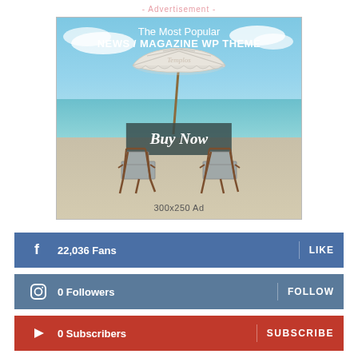- Advertisement -
[Figure (illustration): Advertisement banner showing a beach scene with umbrella and chairs, titled 'The Most Popular NEWS / MAGAZINE WP THEME' with a 'Buy Now' button and '300x250 Ad' label]
22,036  Fans   LIKE
0  Followers   FOLLOW
0  Subscribers   SUBSCRIBE